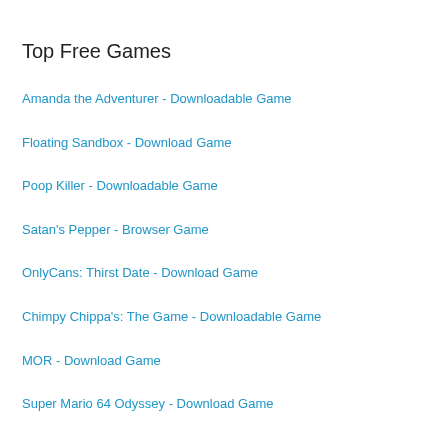Top Free Games
Amanda the Adventurer - Downloadable Game
Floating Sandbox - Download Game
Poop Killer - Downloadable Game
Satan's Pepper - Browser Game
OnlyCans: Thirst Date - Download Game
Chimpy Chippa's: The Game - Downloadable Game
MOR - Download Game
Super Mario 64 Odyssey - Download Game
Categories